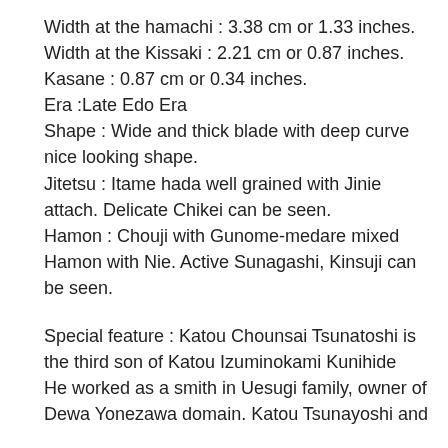Width at the hamachi : 3.38 cm or 1.33 inches.
Width at the Kissaki : 2.21 cm or 0.87 inches.
Kasane : 0.87 cm or 0.34 inches.
Era :Late Edo Era
Shape : Wide and thick blade with deep curve nice looking shape.
Jitetsu : Itame hada well grained with Jinie attach. Delicate Chikei can be seen.
Hamon : Chouji with Gunome-medare mixed Hamon with Nie. Active Sunagashi, Kinsuji can be seen.
Special feature : Katou Chounsai Tsunatoshi is the third son of Katou Izuminokami Kunihide He worked as a smith in Uesugi family, owner of Dewa Yonezawa domain. Katou Tsunayoshi and